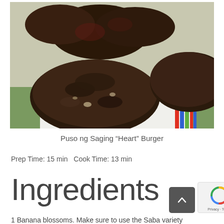[Figure (photo): Close-up photo of dark, cooked Puso ng Saging (banana blossom) burger patties on a colorful striped surface]
Puso ng Saging “Heart” Burger
Prep Time: 15 min Cook Time: 13 min
Ingredients
1 Banana blossoms. Make sure to use the Saba variety